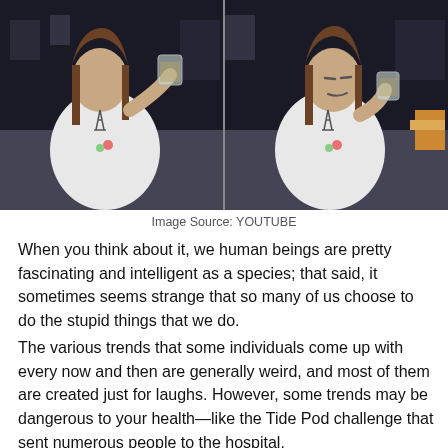[Figure (photo): Two side-by-side video stills of a young woman in a white Eiffel Tower graphic t-shirt. In the left image she is drinking from a large plastic cup; in the right image she grimaces with the cup held nearby. Background is a dark indoor setting.]
Image Source: YOUTUBE
When you think about it, we human beings are pretty fascinating and intelligent as a species; that said, it sometimes seems strange that so many of us choose to do the stupid things that we do.
The various trends that some individuals come up with every now and then are generally weird, and most of them are created just for laughs. However, some trends may be dangerous to your health—like the Tide Pod challenge that sent numerous people to the hospital.